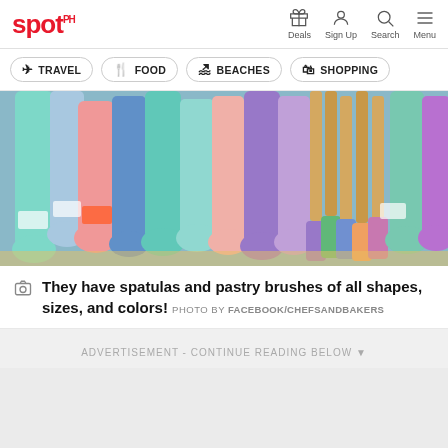spot.ph — Deals, Sign Up, Search, Menu
TRAVEL
FOOD
BEACHES
SHOPPING
[Figure (photo): Colorful silicone spatulas and pastry brushes of various shapes and sizes displayed on a store rack, in pink, blue, teal, purple, and other colors, with wooden-handled brushes on the right.]
They have spatulas and pastry brushes of all shapes, sizes, and colors! PHOTO BY FACEBOOK/CHEFSANDBAKERS
ADVERTISEMENT - CONTINUE READING BELOW